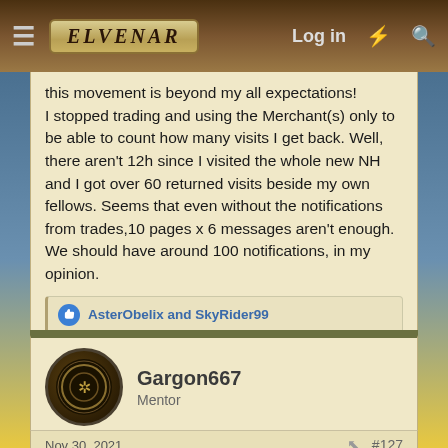Elvenar | Log in
this movement is beyond my all expectations! I stopped trading and using the Merchant(s) only to be able to count how many visits I get back. Well, there aren't 12h since I visited the whole new NH and I got over 60 returned visits beside my own fellows. Seems that even without the notifications from trades,10 pages x 6 messages aren't enough. We should have around 100 notifications, in my opinion.
AsterObelix and SkyRider99
Gargon667
Mentor
Nov 30, 2021
#127
rock stream said:
(1) Did so. over 2 years with the same trading cartel. I believe I